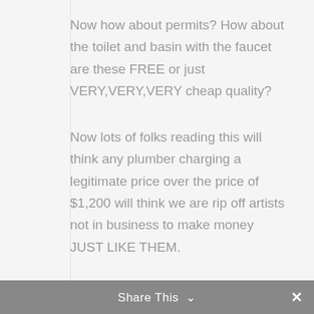Now how about permits? How about the toilet and basin with the faucet are these FREE or just VERY,VERY,VERY cheap quality?
Now lots of folks reading this will think any plumber charging a legitimate price over the price of $1,200 will think we are rip off artists not in business to make money JUST LIKE THEM.
Go to any car dealer and look at the Labor rate for a skilled mechanic just about the same as ours.
Rather then low ball folks into selling them JUNK I would rather walk away from the job.
Share This ∨  ✕